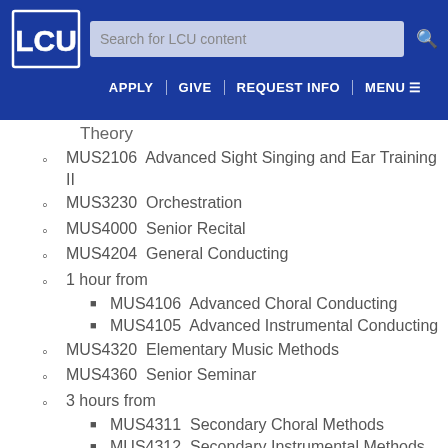[Figure (logo): LCU university logo - stylized letters on blue background]
Search for LCU content  APPLY | GIVE | REQUEST INFO | MENU
Theory
MUS2106  Advanced Sight Singing and Ear Training II
MUS3230  Orchestration
MUS4000  Senior Recital
MUS4204  General Conducting
1 hour from
MUS4106  Advanced Choral Conducting
MUS4105  Advanced Instrumental Conducting
MUS4320  Elementary Music Methods
MUS4360  Senior Seminar
3 hours from
MUS4311  Secondary Choral Methods
MUS4312  Secondary Instrumental Methods